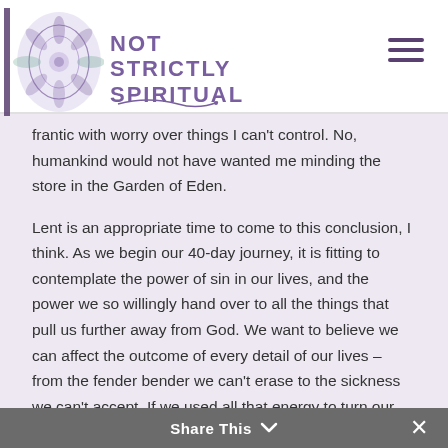[Figure (logo): Not Strictly Spiritual logo with purple mandala illustration and purple bold text]
frantic with worry over things I can't control. No, humankind would not have wanted me minding the store in the Garden of Eden.
Lent is an appropriate time to come to this conclusion, I think. As we begin our 40-day journey, it is fitting to contemplate the power of sin in our lives, and the power we so willingly hand over to all the things that pull us further away from God. We want to believe we can affect the outcome of every detail of our lives – from the fender bender we can't erase to the sickness we can't accept. If we used all that energy to turn our hearts and fears over to God instead, how much more
Share This ˅  ✕